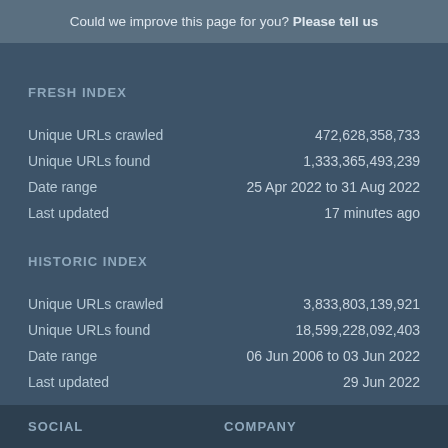Could we improve this page for you? Please tell us
FRESH INDEX
|  |  |
| --- | --- |
| Unique URLs crawled | 472,628,358,733 |
| Unique URLs found | 1,333,365,493,239 |
| Date range | 25 Apr 2022 to 31 Aug 2022 |
| Last updated | 17 minutes ago |
HISTORIC INDEX
|  |  |
| --- | --- |
| Unique URLs crawled | 3,833,803,139,921 |
| Unique URLs found | 18,599,228,092,403 |
| Date range | 06 Jun 2006 to 03 Jun 2022 |
| Last updated | 29 Jun 2022 |
SOCIAL    COMPANY